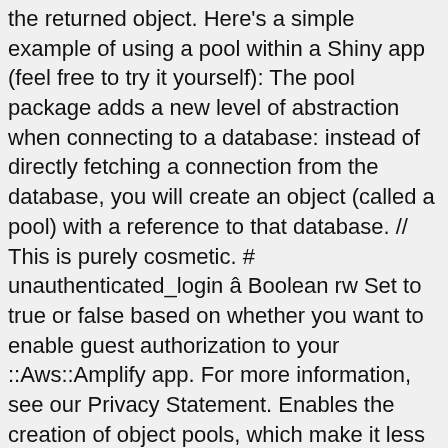the returned object. Here's a simple example of using a pool within a Shiny app (feel free to try it yourself): The pool package adds a new level of abstraction when connecting to a database: instead of directly fetching a connection from the database, you will create an object (called a pool) with a reference to that database. // This is purely cosmetic. # unauthenticated_login â Boolean rw Set to true or false based on whether you want to enable guest authorization to your ::Aws::Amplify app. For more information, see our Privacy Statement. Enables the creation of object pools, which make it less computationally expensive to fetch a new object. Contribute to HowProgrammingWorks/Pool development by creating an account on GitHub. Pick one, remove the rest It adds new feature: CUDA event pool, needed for stream-aware allocators What happened in this PR? When the GitHub desktop app opens, save the project. Contribute to godot-addons/godot-object-pool development by creating an account on GitHub. Git or checkout github object pool SVN using the web URL. e.g